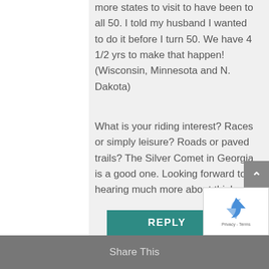more states to visit to have been to all 50. I told my husband I wanted to do it before I turn 50. We have 4 1/2 yrs to make that happen! (Wisconsin, Minnesota and N. Dakota)
What is your riding interest? Races or simply leisure? Roads or paved trails? The Silver Comet in Georgia is a good one. Looking forward to hearing much more about this!
REPLY
Share This